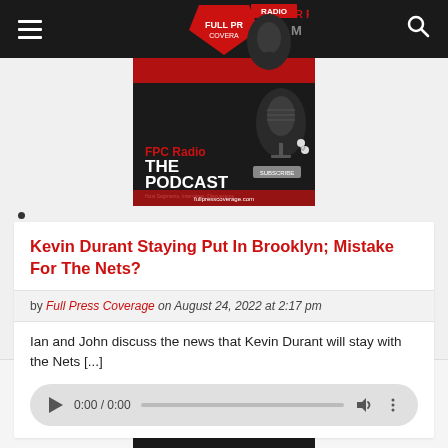Full Press Coverage - FPC Radio navigation bar
[Figure (screenshot): FPC Radio The Podcast promotional image with microphone and earbuds]
Kevin Durant Staying Put In Brooklyn; Mistake For The Nets?
by Full Press Coverage on August 24, 2022 at 2:17 pm
Ian and John discuss the news that Kevin Durant will stay with the Nets [...]
[Figure (screenshot): Audio player showing 0:00 / 0:00 with play button, progress bar, volume and options icons]
[Figure (screenshot): FPC Radio Live logo image at bottom]